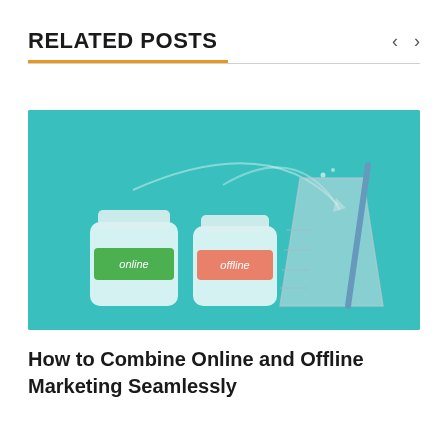RELATED POSTS
[Figure (illustration): Marketing illustration showing two jars labeled 'online' (green) and 'offline' (salmon/pink) with curved arrows pointing into a large measuring glass with a straw, on a teal background.]
How to Combine Online and Offline Marketing Seamlessly